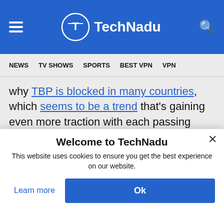TechNadu
NEWS  TV SHOWS  SPORTS  BEST VPN  VPN
why TBP is blocked in many countries, which seems to be a trend that's gaining even more traction with each passing year. However, even despite the numerous issues this website has had, it continues to evolve.
Welcome to TechNadu
This website uses cookies to ensure you get the best experience on our website.
Learn more
Ok